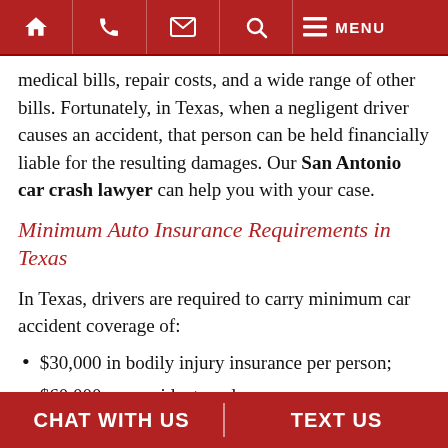HOME | PHONE | EMAIL | SEARCH | MENU
medical bills, repair costs, and a wide range of other bills. Fortunately, in Texas, when a negligent driver causes an accident, that person can be held financially liable for the resulting damages. Our San Antonio car crash lawyer can help you with your case.
Minimum Auto Insurance Requirements in Texas
In Texas, drivers are required to carry minimum car accident coverage of:
$30,000 in bodily injury insurance per person;
$60,000 per accident; and
CHAT WITH US | TEXT US